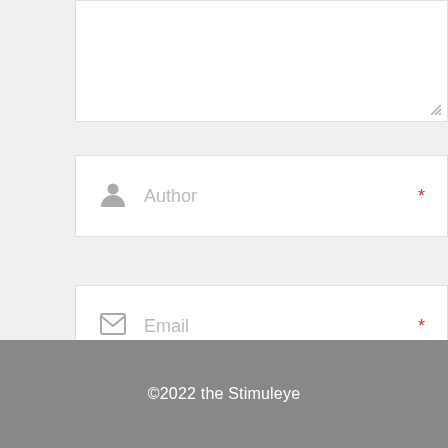[Figure (screenshot): Partial textarea input box (cropped at top), with resize handle at bottom-right corner]
Author *
Email *
Website
Post comment
©2022 the Stimuleye